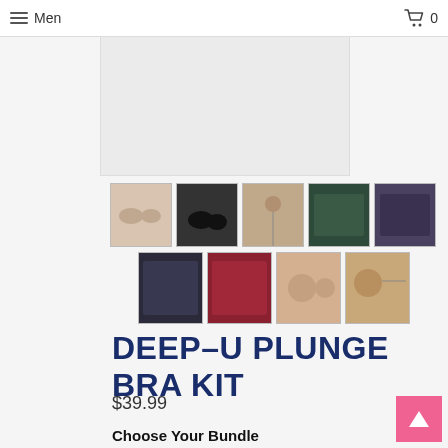Menu  🛒 0
[Figure (photo): Main product image area showing bra kit product, light grey placeholder]
[Figure (photo): Thumbnail gallery row 1: 5 product photos of the Deep-U Plunge Bra Kit showing accessories and models]
[Figure (photo): Thumbnail gallery row 2: 4 product photos of the Deep-U Plunge Bra Kit]
DEEP-U PLUNGE BRA KIT
$39.99
Choose Your Bundle